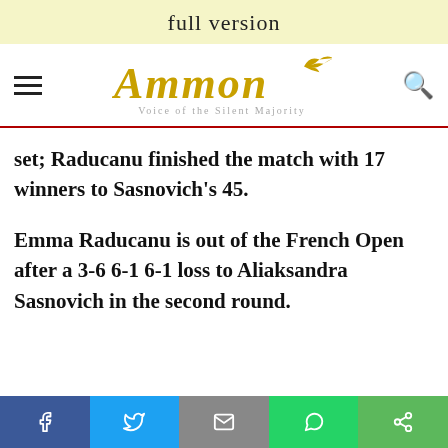full version
[Figure (logo): Ammon News logo with stylized golden text and bird, tagline: Voice of the Silent Majority]
set; Raducanu finished the match with 17 winners to Sasnovich's 45.
Emma Raducanu is out of the French Open after a 3-6 6-1 6-1 loss to Aliaksandra Sasnovich in the second round.
Social share bar: Facebook, Twitter, Email, WhatsApp, Share